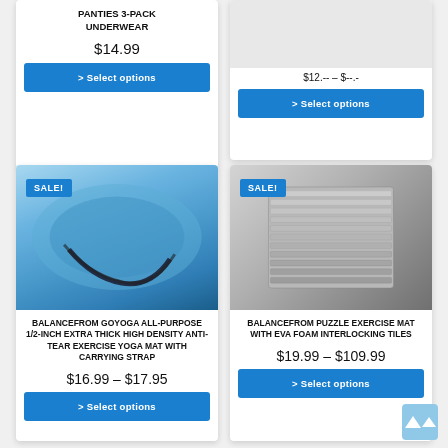[Figure (screenshot): Product card top-left: PANTIES 3-PACK UNDERWEAR, $14.99, Select options button (partially visible at top)]
[Figure (screenshot): Product card top-right: partially visible with price range and Select options button]
[Figure (photo): Blue rolled yoga mat with carrying strap, SALE badge in top-left corner]
BALANCEFROM GOYOGA ALL-PURPOSE 1/2-INCH EXTRA THICK HIGH DENSITY ANTI-TEAR EXERCISE YOGA MAT WITH CARRYING STRAP
$16.99 – $17.95
> Select options
[Figure (photo): Stack of gray EVA foam interlocking exercise mat tiles, SALE badge in top-left corner]
BALANCEFROM PUZZLE EXERCISE MAT WITH EVA FOAM INTERLOCKING TILES
$19.99 – $109.99
> Select options